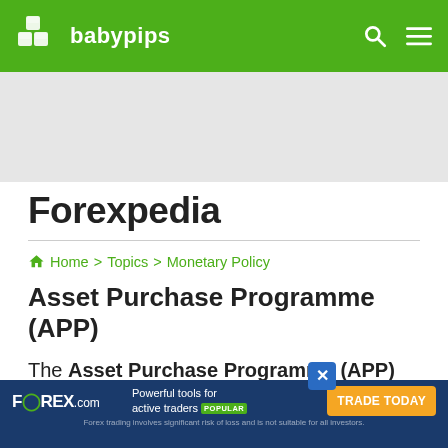babypips
[Figure (screenshot): Gray advertisement banner area below the navigation header]
Forexpedia
Home > Topics > Monetary Policy
Asset Purchase Programme (APP)
The Asset Purchase Programme (APP) helps the European Central Bank in its task
[Figure (infographic): FOREX.com advertisement banner: Powerful tools for active traders POPULAR. TRADE TODAY. Forex trading involves significant risk of loss and is not suitable for all investors.]